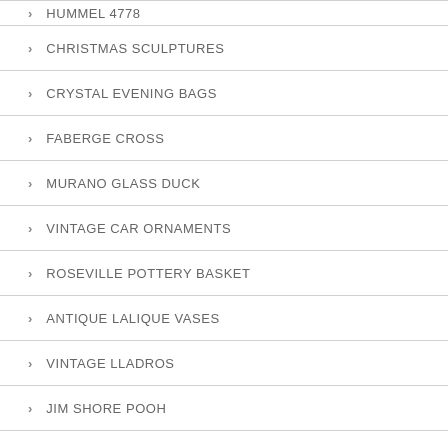HUMMEL 4778
CHRISTMAS SCULPTURES
CRYSTAL EVENING BAGS
FABERGE CROSS
MURANO GLASS DUCK
VINTAGE CAR ORNAMENTS
ROSEVILLE POTTERY BASKET
ANTIQUE LALIQUE VASES
VINTAGE LLADROS
JIM SHORE POOH
MURANO GLASS SEAL